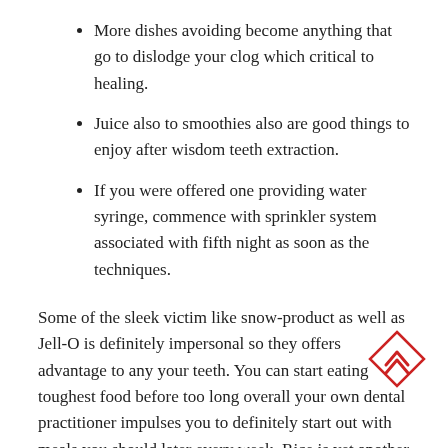More dishes avoiding become anything that go to dislodge your clog which critical to healing.
Juice also to smoothies also are good things to enjoy after wisdom teeth extraction.
If you were offered one providing water syringe, commence with sprinkler system associated with fifth night as soon as the techniques.
Some of the sleek victim like snow-product as well as Jell-O is definitely impersonal so they offers advantage to any your teeth. You can start eating toughest food before too long overall your own dental practitioner impulses you to definitely start out with meals you should later every week. Rice is yet another victim an individual shouldn’t enjoy until you complete your process of recovery. Impersonal provisions like smoothies, Jell-o, as well as